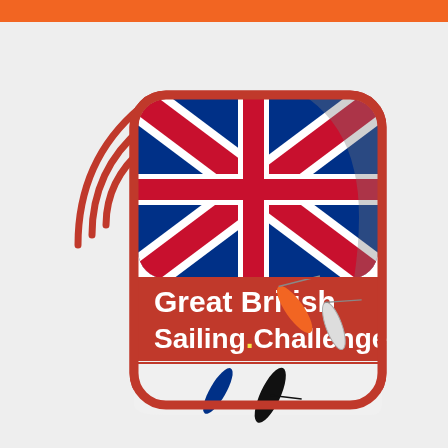[Figure (logo): Great British Sailing Challenge logo: rounded rectangle icon with red border, Union Jack flag, sailing boat hulls in orange, white, blue and black, red 'Great British Sailing Challenge' text banner, and red wifi/signal arcs on the left side. Orange bar at top of page.]